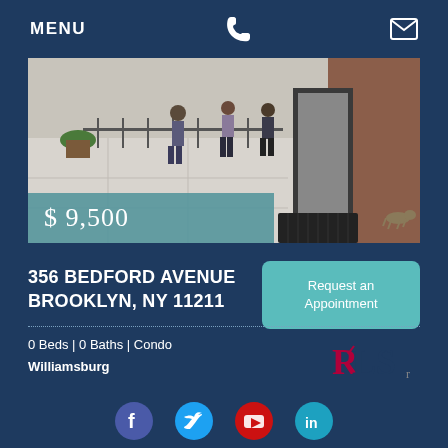MENU
[Figure (photo): Street-level photo of a building entrance with pedestrians on a sidewalk]
$ 9,500
356 BEDFORD AVENUE BROOKLYN, NY 11211
Request an Appointment
0 Beds | 0 Baths | Condo
Williamsburg
[Figure (logo): KLS realty logo]
[Figure (map): Map placeholder showing a house/location icon]
Social media icons: Facebook, Twitter, YouTube, LinkedIn